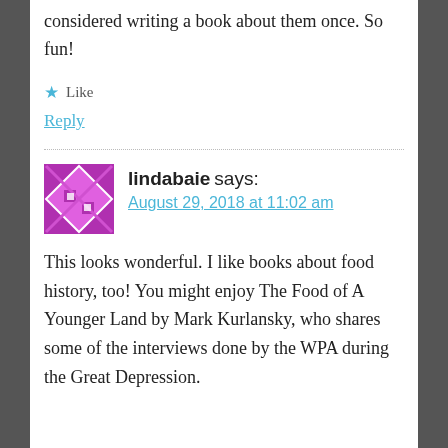considered writing a book about them once. So fun!
★ Like
Reply
lindabaie says:
August 29, 2018 at 11:02 am
This looks wonderful. I like books about food history, too! You might enjoy The Food of A Younger Land by Mark Kurlansky, who shares some of the interviews done by the WPA during the Great Depression.